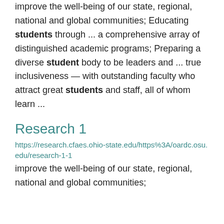improve the well-being of our state, regional, national and global communities; Educating students through ... a comprehensive array of distinguished academic programs; Preparing a diverse student body to be leaders and ... true inclusiveness — with outstanding faculty who attract great students and staff, all of whom learn ...
Research 1
https://research.cfaes.ohio-state.edu/https%3A/oardc.osu.edu/research-1-1
improve the well-being of our state, regional, national and global communities;